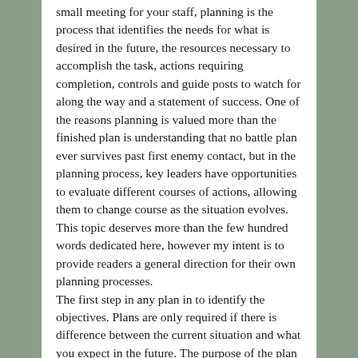small meeting for your staff, planning is the process that identifies the needs for what is desired in the future, the resources necessary to accomplish the task, actions requiring completion, controls and guide posts to watch for along the way and a statement of success. One of the reasons planning is valued more than the finished plan is understanding that no battle plan ever survives past first enemy contact, but in the planning process, key leaders have opportunities to evaluate different courses of actions, allowing them to change course as the situation evolves. This topic deserves more than the few hundred words dedicated here, however my intent is to provide readers a general direction for their own planning processes. The first step in any plan in to identify the objectives. Plans are only required if there is difference between the current situation and what you expect in the future. The purpose of the plan is to change the future. At the strategic level, leaders develop mission statements, share their